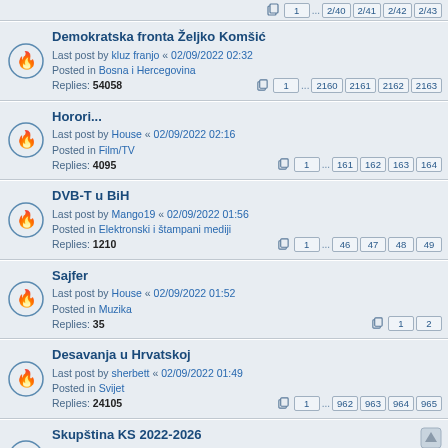Demokratska fronta Željko Komšić | Last post by kluz franjo « 02/09/2022 02:32 | Posted in Bosna i Hercegovina | Replies: 54058 | Pages: 1 ... 2160 2161 2162 2163
Horori... | Last post by House « 02/09/2022 02:16 | Posted in Film/TV | Replies: 4095 | Pages: 1 ... 161 162 163 164
DVB-T u BiH | Last post by Mango19 « 02/09/2022 01:56 | Posted in Elektronski i štampani mediji | Replies: 1210 | Pages: 1 ... 46 47 48 49
Sajfer | Last post by House « 02/09/2022 01:52 | Posted in Muzika | Replies: 35 | Pages: 1 2
Desavanja u Hrvatskoj | Last post by sherbett « 02/09/2022 01:49 | Posted in Svijet | Replies: 24105 | Pages: 1 ... 962 963 964 965
Skupština KS 2022-2026 | Last post by mistek « 02/09/2022 01:39 | Posted in Opći izbori 2022 | Replies: 160 | Pages: 1 ... 4 5 6 7